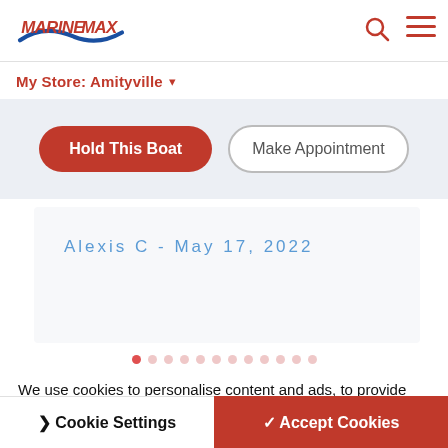MarineMax — My Store: Amityville
Hold This Boat | Make Appointment
Alexis C - May 17, 2022
We use cookies to personalise content and ads, to provide social media features and to analyse our traffic. We also share information about your use of our site with our social media, advertising and analytics partners.
Boating Resources for You
Cookie Settings | ✓ Accept Cookies